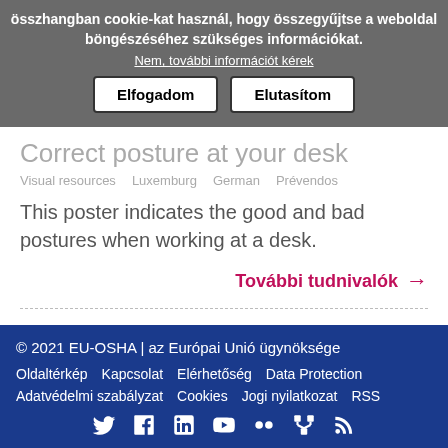összhangban cookie-kat használ, hogy összegyűjtse a weboldal böngészéséhez szükséges információkat.
Nem, további információt kérek
Elfogadom | Elutasítom
Correct posture at your desk
Visual resources   Luxemburg   German   Prévendos
This poster indicates the good and bad postures when working at a desk.
További tudnivalók →
© 2021 EU-OSHA | az Európai Unió ügynöksége
Oldaltérkép   Kapcsolat   Elérhetőség   Data Protection
Adatvédelmi szabályzat   Cookies   Jogi nyilatkozat   RSS